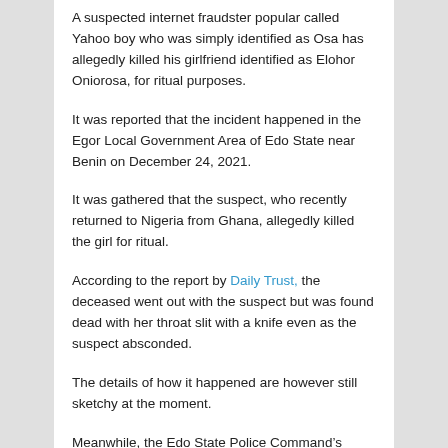A suspected internet fraudster popular called Yahoo boy who was simply identified as Osa has allegedly killed his girlfriend identified as Elohor Oniorosa, for ritual purposes.
It was reported that the incident happened in the Egor Local Government Area of Edo State near Benin on December 24, 2021.
It was gathered that the suspect, who recently returned to Nigeria from Ghana, allegedly killed the girl for ritual.
According to the report by Daily Trust, the deceased went out with the suspect but was found dead with her throat slit with a knife even as the suspect absconded.
The details of how it happened are however still sketchy at the moment.
Meanwhile, the Edo State Police Command’s Public Relations Officer, Kongtons Bello, who confirmed the incident, said the suspect is on the run.